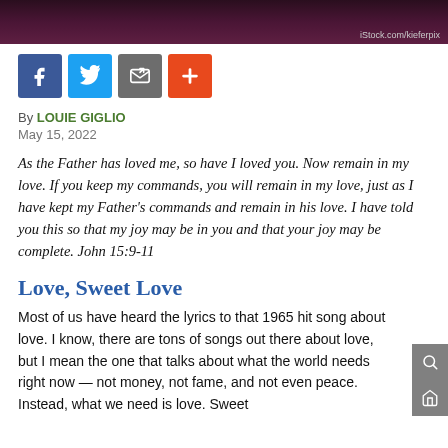[Figure (photo): Dark purple/maroon background image (partial, cropped at top) with iStock.com/kieferpix watermark]
[Figure (infographic): Social media sharing icons: Facebook (blue), Twitter (light blue), Email/share (gray), Plus/More (orange-red)]
By LOUIE GIGLIO
May 15, 2022
As the Father has loved me, so have I loved you. Now remain in my love. If you keep my commands, you will remain in my love, just as I have kept my Father’s commands and remain in his love. I have told you this so that my joy may be in you and that your joy may be complete. John 15:9-11
Love, Sweet Love
Most of us have heard the lyrics to that 1965 hit song about love. I know, there are tons of songs out there about love, but I mean the one that talks about what the world needs right now — not money, not fame, and not even peace. Instead, what we need is love. Sweet